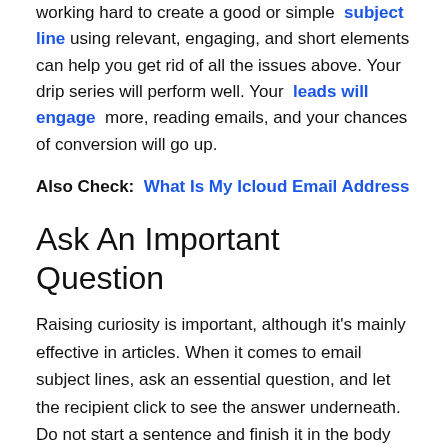working hard to create a good or simple subject line using relevant, engaging, and short elements can help you get rid of all the issues above. Your drip series will perform well. Your leads will engage more, reading emails, and your chances of conversion will go up.
Also Check: What Is My Icloud Email Address
Ask An Important Question
Raising curiosity is important, although it's mainly effective in articles. When it comes to email subject lines, ask an essential question, and let the recipient click to see the answer underneath. Do not start a sentence and finish it in the body as this will be seen as clickbait, and it might result in people ignoring your email or unsubscribing from your services. Here's how to ask important questions: